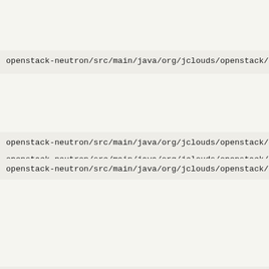openstack-neutron/src/main/java/org/jclouds/openstack/neutro
openstack-neutron/src/main/java/org/jclouds/openstack/neutro
openstack-neutron/src/main/java/org/jclouds/openstack/neutro
openstack-neutron/src/main/java/org/jclouds/openstack/neutro
openstack-neutron/src/main/java/org/jclouds/openstack/neutro
openstack-neutron/src/main/java/org/jclouds/openstack/neutron/v2/fallb